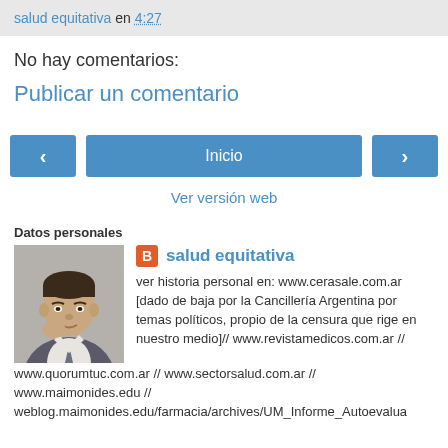salud equitativa en 4:27
No hay comentarios:
Publicar un comentario
Inicio
Ver versión web
Datos personales
[Figure (photo): Portrait photo of a man in a suit]
salud equitativa
ver historia personal en: www.cerasale.com.ar [dado de baja por la Cancillería Argentina por temas políticos, propio de la censura que rige en nuestro medio]// www.revistamedicos.com.ar // www.quorumtuc.com.ar // www.sectorsalud.com.ar // www.maimonides.edu // weblog.maimonides.edu/farmacia/archives/UM_Informe_Autoevalua